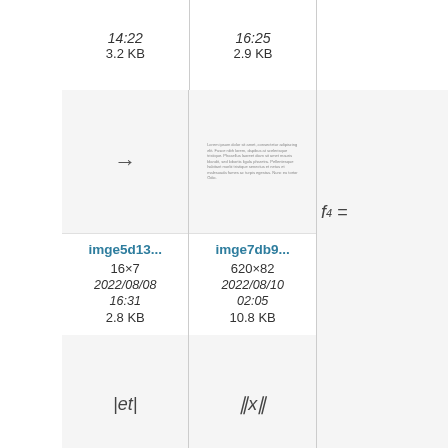14:22
3.2 KB
16:25
2.9 KB
[Figure (other): Arrow symbol →]
imge5d13...
16×7
2022/08/08
16:31
2.8 KB
[Figure (other): Small dense text block image]
imge7db9...
620×82
2022/08/10
02:05
10.8 KB
[Figure (other): Partial: f_4 =]
[Figure (math-figure): |et| absolute value expression]
imge8eef2...
21×19
2022/08/08
20:31
2.9 KB
[Figure (math-figure): ||x|| double norm expression]
imge9d87...
25×19
2022/08/09
14:21
2.9 KB
[Figure (other): Partial: Et]